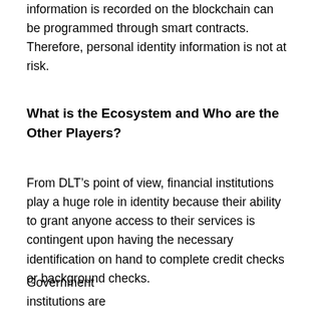information is recorded on the blockchain can be programmed through smart contracts. Therefore, personal identity information is not at risk.
What is the Ecosystem and Who are the Other Players?
From DLT’s point of view, financial institutions play a huge role in identity because their ability to grant anyone access to their services is contingent upon having the necessary identification on hand to complete credit checks or background checks.
Government institutions are another key identity players because they are the most...